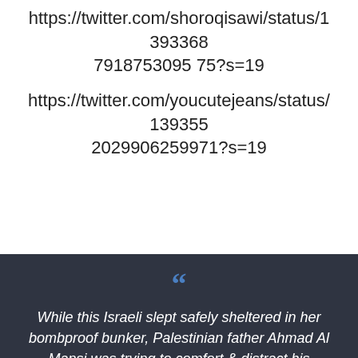https://twitter.com/shoroqisawi/status/13933687918753095 75?s=19
https://twitter.com/youcutejeans/status/1393552029906259971?s=19
“While this Israeli slept safely sheltered in her bombproof bunker, Palestinian father Ahmad Al Mansi was trying to comfort & distract his children during the horrific airstrikes. Today the israeli woke up to do her "video tour". Ahmad Al Mansi’s children...